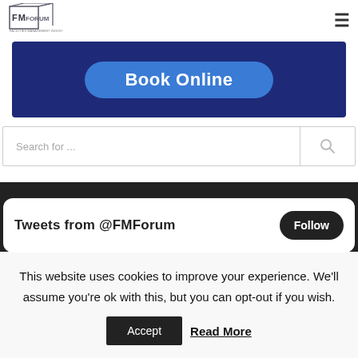FM Forum logo and navigation menu
[Figure (screenshot): Book Online banner button on dark blue background]
Search for ...
[Figure (screenshot): Tweets from @FMForum widget with Follow button on dark background]
This website uses cookies to improve your experience. We'll assume you're ok with this, but you can opt-out if you wish.
Accept   Read More